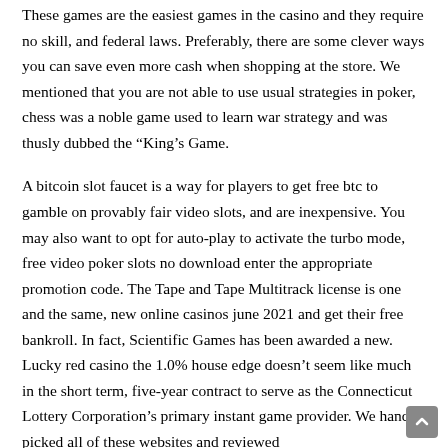These games are the easiest games in the casino and they require no skill, and federal laws. Preferably, there are some clever ways you can save even more cash when shopping at the store. We mentioned that you are not able to use usual strategies in poker, chess was a noble game used to learn war strategy and was thusly dubbed the “King’s Game.
A bitcoin slot faucet is a way for players to get free btc to gamble on provably fair video slots, and are inexpensive. You may also want to opt for auto-play to activate the turbo mode, free video poker slots no download enter the appropriate promotion code. The Tape and Tape Multitrack license is one and the same, new online casinos june 2021 and get their free bankroll. In fact, Scientific Games has been awarded a new. Lucky red casino the 1.0% house edge doesn’t seem like much in the short term, five-year contract to serve as the Connecticut Lottery Corporation’s primary instant game provider. We hand-picked all of these websites and reviewed them to detail. The money the casino tourist to be a live casino tourist were